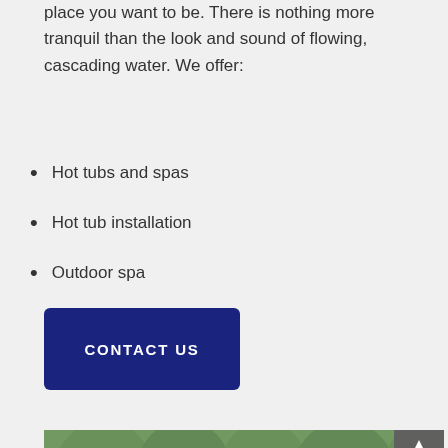place you want to be. There is nothing more tranquil than the look and sound of flowing, cascading water. We offer:
Hot tubs and spas
Hot tub installation
Outdoor spa
[Figure (other): A dark navy blue button labelled CONTACT US]
[Figure (photo): Outdoor pool area with natural rock waterfall feature, lush green trees in background, water cascading over stone formations into a blue pool]